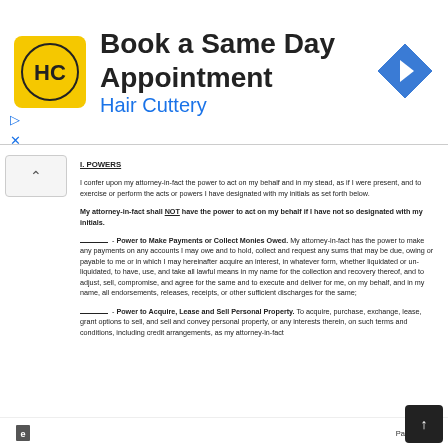[Figure (illustration): Hair Cuttery advertisement banner with logo and 'Book a Same Day Appointment' text]
I. POWERS
I confer upon my attorney-in-fact the power to act on my behalf and in my stead, as if I were present, and to exercise or perform the acts or powers I have designated with my initials as set forth below.
My attorney-in-fact shall NOT have the power to act on my behalf if I have not so designated with my initials.
_____ - Power to Make Payments or Collect Monies Owed. My attorney-in-fact has the power to make any payments on any accounts I may owe and to hold, collect and request any sums that may be due, owing or payable to me or in which I may hereinafter acquire an interest, in whatever form, whether liquidated or un-liquidated, to have, use, and take all lawful means in my name for the collection and recovery thereof, and to adjust, sell, compromise, and agree for the same and to execute and deliver for me, on my behalf, and in my name, all endorsements, releases, receipts, or other sufficient discharges for the same;
_____ - Power to Acquire, Lease and Sell Personal Property. To acquire, purchase, exchange, lease, grant options to sell, and sell and convey personal property, or any interests therein, on such terms and conditions, including credit arrangements, as my attorney-in-fact
Page 1 of 7